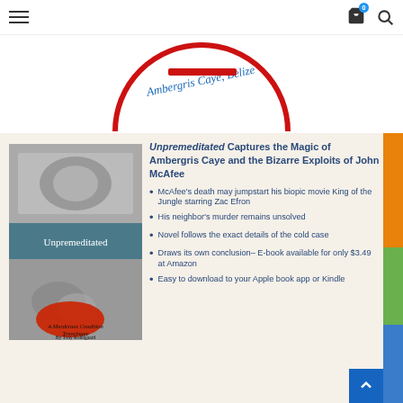Navigation header with hamburger menu, cart icon with badge 0, and search icon
[Figure (logo): Ambergris Caye, Belize Emergency Response circular logo — red circular border with red text 'MERGENCY RESPONS' along the bottom arc and blue cursive text 'Ambergris Caye, Belize' across the middle, red horizontal bar in center]
[Figure (illustration): Book cover of 'Unpremeditated: A Murderous Condition Travelogue by Tony Rondgaard' — grayscale imagery with a teal title band in the middle and a red shape at the bottom]
Unpremeditated Captures the Magic of Ambergris Caye and the Bizarre Exploits of John McAfee
McAfee's death may jumpstart his biopic movie King of the Jungle starring Zac Efron
His neighbor's murder remains unsolved
Novel follows the exact details of the cold case
Draws its own conclusion– E-book available for only $3.49 at Amazon
Easy to download to your Apple book app or Kindle